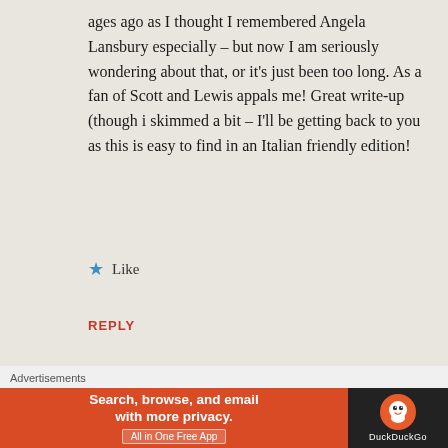ages ago as I thought I remembered Angela Lansbury especially – but now I am seriously wondering about that, or it's just been too long. As a fan of Scott and Lewis appals me! Great write-up (though i skimmed a bit – I'll be getting back to you as this is easy to find in an Italian friendly edition!
★ Like
REPLY
Colin
[Figure (infographic): DuckDuckGo advertisement banner: orange left section with text 'Search, browse, and email with more privacy.' and 'All in One Free App' button; dark right section with DuckDuckGo logo and name. Advertisements label above. Close button (X in circle) at top right.]